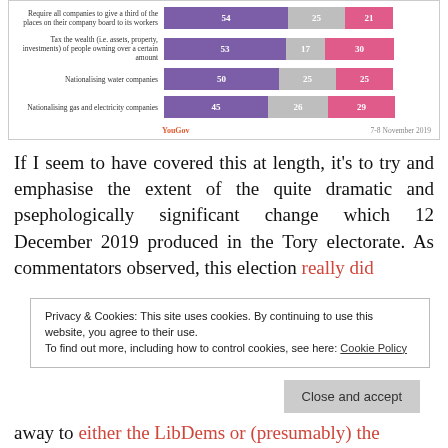[Figure (stacked-bar-chart): YouGov poll on policy opinions]
If I seem to have covered this at length, it's to try and emphasise the extent of the quite dramatic and psephologically significant change which 12 December 2019 produced in the Tory electorate. As commentators observed, this election really did
Privacy & Cookies: This site uses cookies. By continuing to use this website, you agree to their use.
To find out more, including how to control cookies, see here: Cookie Policy
away to either the LibDems or (presumably) the